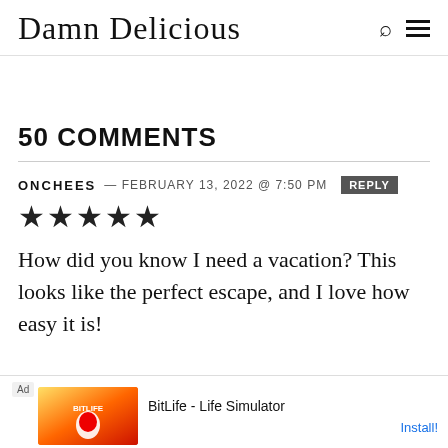Damn Delicious
50 COMMENTS
ONCHEES — FEBRUARY 13, 2022 @ 7:50 PM  REPLY
★★★★★
How did you know I need a vacation? This looks like the perfect escape, and I love how easy it is!
[Figure (infographic): Ad banner for BitLife - Life Simulator mobile game with Install button]